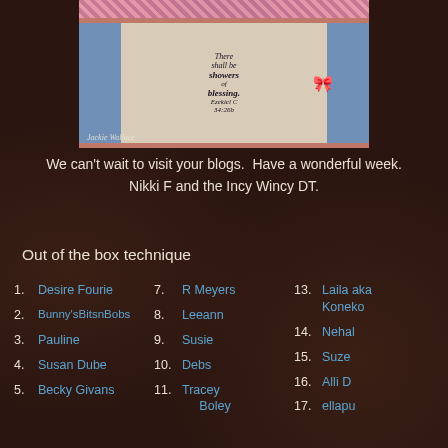[Figure (photo): A handmade greeting card with a salmon/coral background and blue accents, featuring a patterned top border, two blue side panels, and a central cream-colored card with scripture text reading 'There shall be showers of blessing. Ezekiel C 34:26b'. A blue ribbon bow decorates the right side. Signed 'Jackie Wallace' with a blog URL.]
We can't wait to visit your blogs.  Have a wonderful week. Nikki F and the Incy Wincy DT.
Out of the box technique
1. Desire Fourie
2. Bunny'sBitsnBobs
3. Pauline
4. Susan Dube
5. Becky Givans
7. R Meyers
8. Leeann
9. Susie
10. Debs
11. Tracey Boley
13. Laila aka Koneko
14. Nehal
15. Suze
16. Alli D
17. ellapu